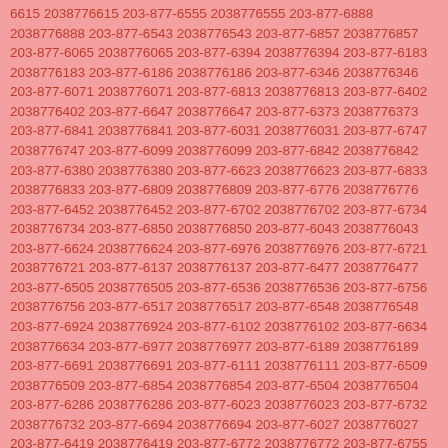6615 2038776615 203-877-6555 2038776555 203-877-6888 2038776888 203-877-6543 2038776543 203-877-6857 2038776857 203-877-6065 2038776065 203-877-6394 2038776394 203-877-6183 2038776183 203-877-6186 2038776186 203-877-6346 2038776346 203-877-6071 2038776071 203-877-6813 2038776813 203-877-6402 2038776402 203-877-6647 2038776647 203-877-6373 2038776373 203-877-6841 2038776841 203-877-6031 2038776031 203-877-6747 2038776747 203-877-6099 2038776099 203-877-6842 2038776842 203-877-6380 2038776380 203-877-6623 2038776623 203-877-6833 2038776833 203-877-6809 2038776809 203-877-6776 2038776776 203-877-6452 2038776452 203-877-6702 2038776702 203-877-6734 2038776734 203-877-6850 2038776850 203-877-6043 2038776043 203-877-6624 2038776624 203-877-6976 2038776976 203-877-6721 2038776721 203-877-6137 2038776137 203-877-6477 2038776477 203-877-6505 2038776505 203-877-6536 2038776536 203-877-6756 2038776756 203-877-6517 2038776517 203-877-6548 2038776548 203-877-6924 2038776924 203-877-6102 2038776102 203-877-6634 2038776634 203-877-6977 2038776977 203-877-6189 2038776189 203-877-6691 2038776691 203-877-6111 2038776111 203-877-6509 2038776509 203-877-6854 2038776854 203-877-6504 2038776504 203-877-6286 2038776286 203-877-6023 2038776023 203-877-6732 2038776732 203-877-6694 2038776694 203-877-6027 2038776027 203-877-6419 2038776419 203-877-6772 2038776772 203-877-6755 2038776755 203-877-6271 2038776271 203-877-6229 2038776229 203-877-6439 2038776439 203-877-6521 2038776521 203-877-6442 2038776442 203-877-